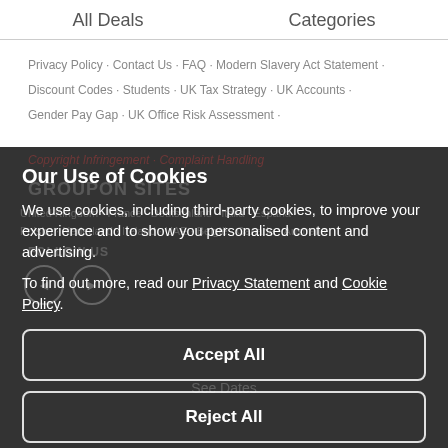All Deals    Categories
Privacy Policy · Contact Us · FAQ · Modern Slavery Act Statement ·
Discount Codes · Students · UK Tax Strategy · UK Accounts ·
Gender Pay Gap · UK Office Risk Assessment ·
Our Use of Cookies
We use cookies, including third-party cookies, to improve your experience and to show you personalised content and advertising.
To find out more, read our Privacy Statement and Cookie Policy.
Accept All
Reject All
My Options